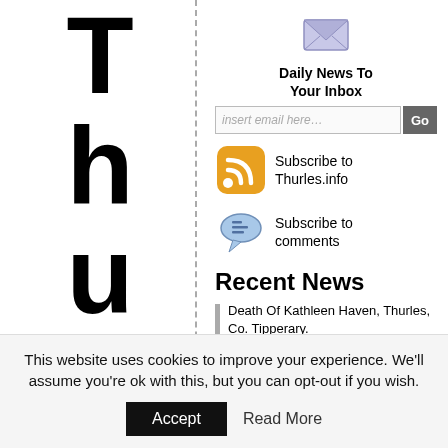ThurlesBlo C
Daily News To Your Inbox
insert email here…  Go
Subscribe to Thurles.info
Subscribe to comments
Recent News
Death Of Kathleen Haven, Thurles, Co. Tipperary.
Holycross Village Market, Saturday Afternoon Next.
Death Of Peader Purcell, Thurles, Co. Tipperary.
Death Of Joe Coman, Thurles, Co. Tipperary.
Two Thurles Eateries…
This website uses cookies to improve your experience. We'll assume you're ok with this, but you can opt-out if you wish.
Accept   Read More